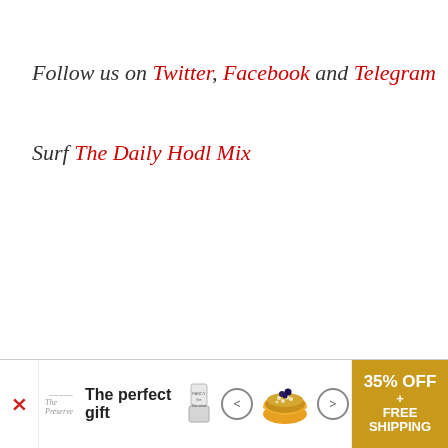Follow us on Twitter, Facebook and Telegram
Surf The Daily Hodl Mix
[Figure (other): Advertisement banner: 'The perfect gift' with product images (cup, bowl), navigation arrows, and '35% OFF + FREE SHIPPING' promotional block in gold/yellow background.]